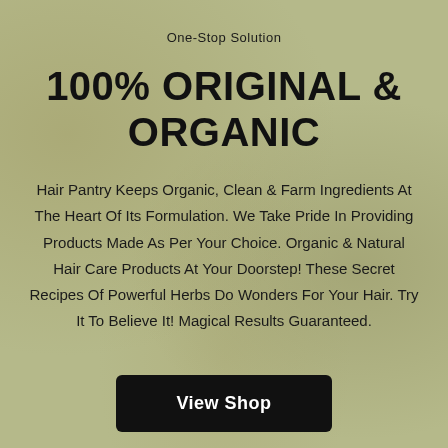One-Stop Solution
100% ORIGINAL & ORGANIC
Hair Pantry Keeps Organic, Clean & Farm Ingredients At The Heart Of Its Formulation. We Take Pride In Providing Products Made As Per Your Choice. Organic & Natural Hair Care Products At Your Doorstep! These Secret Recipes Of Powerful Herbs Do Wonders For Your Hair. Try It To Believe It! Magical Results Guaranteed.
View Shop